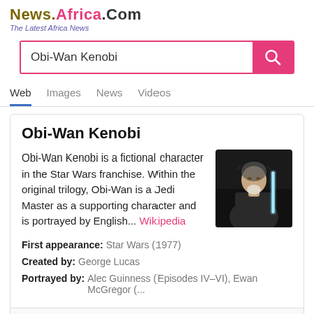News.Africa.Com – The Latest Africa News
Obi-Wan Kenobi (search query)
Obi-Wan Kenobi
Obi-Wan Kenobi is a fictional character in the Star Wars franchise. Within the original trilogy, Obi-Wan is a Jedi Master as a supporting character and is portrayed by English... Wikipedia
[Figure (photo): Photo of Obi-Wan Kenobi character in dark robes holding a lightsaber]
First appearance: Star Wars (1977)
Created by: George Lucas
Portrayed by: Alec Guinness (Episodes IV–VI), Ewan McGregor (...